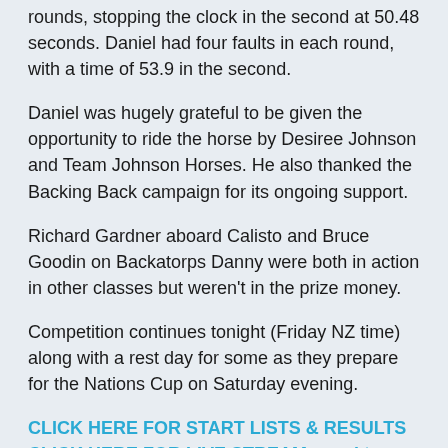rounds, stopping the clock in the second at 50.48 seconds. Daniel had four faults in each round, with a time of 53.9 in the second.
Daniel was hugely grateful to be given the opportunity to ride the horse by Desiree Johnson and Team Johnson Horses. He also thanked the Backing Back campaign for its ongoing support.
Richard Gardner aboard Calisto and Bruce Goodin on Backatorps Danny were both in action in other classes but weren't in the prize money.
Competition continues tonight (Friday NZ time) along with a rest day for some as they prepare for the Nations Cup on Saturday evening.
CLICK HERE FOR START LISTS & RESULTS
CLICK HERE FOR LIVE STREAM – and to watch previous days competition